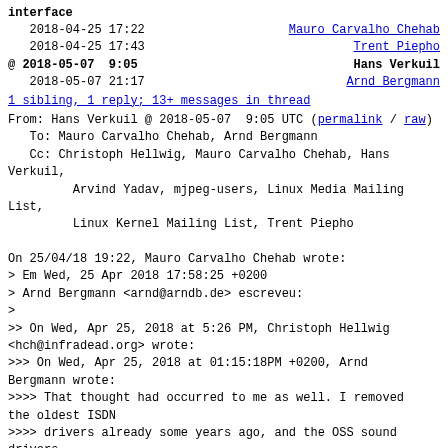interface
2018-04-25 17:22    Mauro Carvalho Chehab
2018-04-25 17:43    Trent Piepho
@ 2018-05-07  9:05    Hans Verkuil
2018-05-07 21:17    Arnd Bergmann
1 sibling, 1 reply; 13+ messages in thread
From: Hans Verkuil @ 2018-05-07  9:05 UTC (permalink / raw)
To: Mauro Carvalho Chehab, Arnd Bergmann
Cc: Christoph Hellwig, Mauro Carvalho Chehab, Hans Verkuil,
        Arvind Yadav, mjpeg-users, Linux Media Mailing List,
        Linux Kernel Mailing List, Trent Piepho

On 25/04/18 19:22, Mauro Carvalho Chehab wrote:
> Em Wed, 25 Apr 2018 17:58:25 +0200
> Arnd Bergmann <arnd@arndb.de> escreveu:
>
>> On Wed, Apr 25, 2018 at 5:26 PM, Christoph Hellwig
<hch@infradead.org> wrote:
>>> On Wed, Apr 25, 2018 at 01:15:18PM +0200, Arnd
Bergmann wrote:
>>>> That thought had occurred to me as well. I removed
the oldest ISDN
>>>> drivers already some years ago, and the OSS sound
drivers
>>>> got removed as well, and comedi got converted to
the dma-mapping
>>>> interfaces, so there isn't much left at all now.